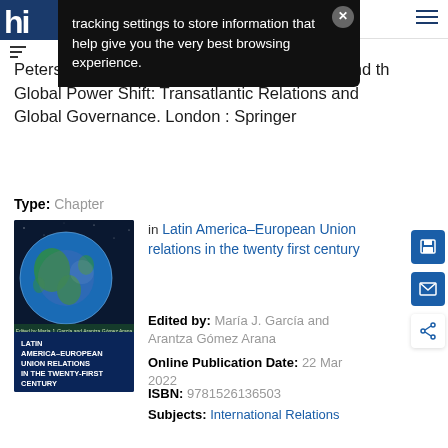hi [logo partial] [hamburger menu]
tracking settings to store information that help give you the very best browsing experience.
Peterson , J. and Greco , E. (eds), The West and the Global Power Shift: Transatlantic Relations and Global Governance. London : Springer
Type: Chapter
[Figure (illustration): Book cover of 'Latin America-European Union Relations in the Twenty-First Century' showing a globe image and dark blue background with white text]
in Latin America–European Union relations in the twenty first century
Edited by: María J. García and Arantza Gómez Arana
Online Publication Date: 22 Mar 2022
ISBN: 9781526136503
Subjects: International Relations